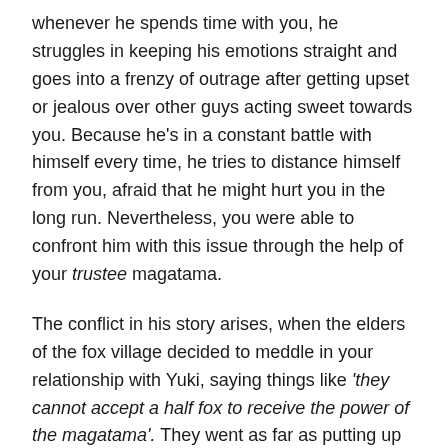whenever he spends time with you, he struggles in keeping his emotions straight and goes into a frenzy of outrage after getting upset or jealous over other guys acting sweet towards you. Because he's in a constant battle with himself every time, he tries to distance himself from you, afraid that he might hurt you in the long run. Nevertheless, you were able to confront him with this issue through the help of your trustee magatama.
The conflict in his story arises, when the elders of the fox village decided to meddle in your relationship with Yuki, saying things like 'they cannot accept a half fox to receive the power of the magatama'. They went as far as putting up a fight with everyone and eventually took Yuki to the fox village and imprisoned him in the dungeons.
With the help of all the members in Fox Ear, you were able to get to Yuki's prison cell and managed to come face to face with one